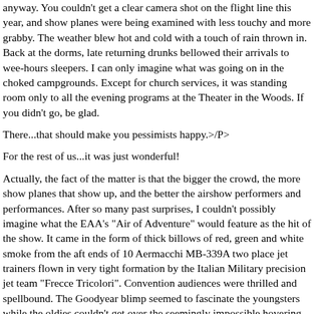anyway. You couldn't get a clear camera shot on the flight line this year, and show planes were being examined with less touchy and more grabby. The weather blew hot and cold with a touch of rain thrown in. Back at the dorms, late returning drunks bellowed their arrivals to wee-hours sleepers. I can only imagine what was going on in the choked campgrounds. Except for church services, it was standing room only to all the evening programs at the Theater in the Woods. If you didn't go, be glad.
There...that should make you pessimists happy.>/P>
For the rest of us...it was just wonderful!
Actually, the fact of the matter is that the bigger the crowd, the more show planes that show up, and the better the airshow performers and performances. After so many past surprises, I couldn't possibly imagine what the EAA's "Air of Adventure" would feature as the hit of the show. It came in the form of thick billows of red, green and white smoke from the aft ends of 10 Aermacchi MB-339A two place jet trainers flown in very tight formation by the Italian Military precision jet team "Frecce Tricolori". Convention audiences were thrilled and spellbound. The Goodyear blimp seemed to fascinate the youngsters while the oldies couldn't get over the seemingly impossible hovering of 2 Marine Harrier jets (if the hovering didn't get you, the deafening jet-roar did!).
On the flight line, several new composite designs were shown, but nothing